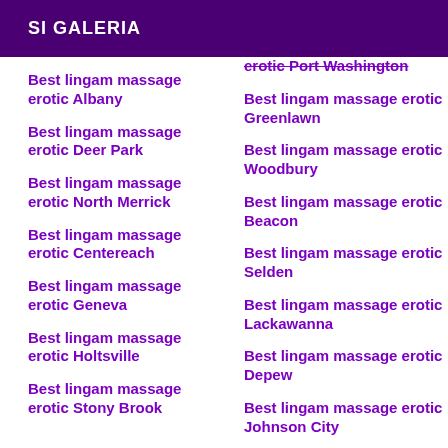SI GALERIA
erotic Port Washington
Best lingam massage erotic Albany
Best lingam massage erotic Greenlawn
Best lingam massage erotic Deer Park
Best lingam massage erotic Woodbury
Best lingam massage erotic North Merrick
Best lingam massage erotic Beacon
Best lingam massage erotic Centereach
Best lingam massage erotic Selden
Best lingam massage erotic Geneva
Best lingam massage erotic Lackawanna
Best lingam massage erotic Holtsville
Best lingam massage erotic Depew
Best lingam massage erotic Stony Brook
Best lingam massage erotic Johnson City